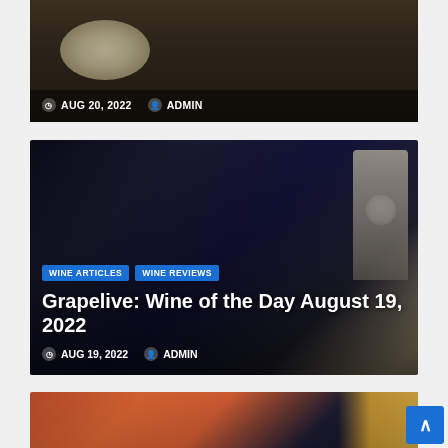[Figure (photo): Partial wine bottle label photo from blog post dated August 20, 2022 - bottom portion visible with metadata overlay]
AUG 20, 2022 ADMIN
[Figure (photo): Dark wine bottle photo with wine label visible, corkscrew in background]
WINE ARTICLES  WINE REVIEWS
Grapelive: Wine of the Day August 19, 2022
AUG 19, 2022  ADMIN
[Figure (photo): Wine glass with rosé and dark wine bottle, yellow background on right]
WINE ARTICLES  WINE REVIEWS
Grapelive: Wine of the Day August 18, 2022